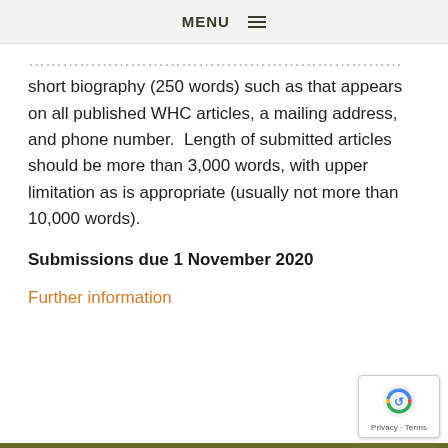MENU ☰
short biography (250 words) such as that appears on all published WHC articles, a mailing address, and phone number.  Length of submitted articles should be more than 3,000 words, with upper limitation as is appropriate (usually not more than 10,000 words).
Submissions due 1 November 2020
Further information